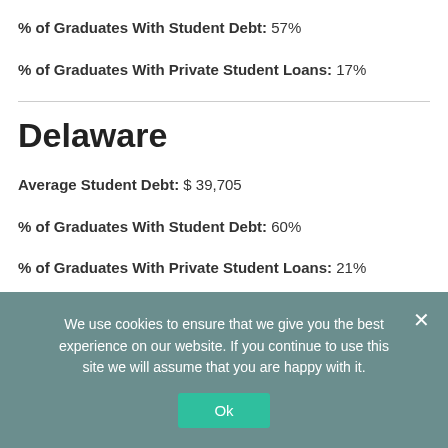% of Graduates With Student Debt: 57%
% of Graduates With Private Student Loans: 17%
Delaware
Average Student Debt: $ 39,705
% of Graduates With Student Debt: 60%
% of Graduates With Private Student Loans: 21%
We use cookies to ensure that we give you the best experience on our website. If you continue to use this site we will assume that you are happy with it.